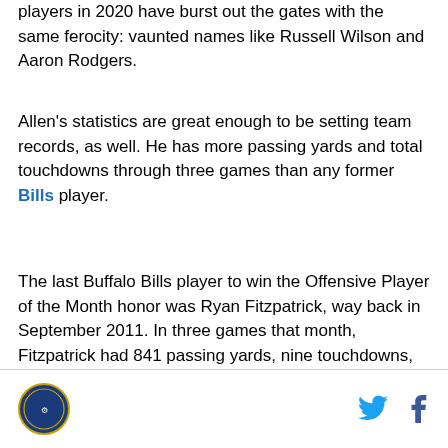players in 2020 have burst out the gates with the same ferocity: vaunted names like Russell Wilson and Aaron Rodgers.
Allen's statistics are great enough to be setting team records, as well. He has more passing yards and total touchdowns through three games than any former Bills player.
The last Buffalo Bills player to win the Offensive Player of the Month honor was Ryan Fitzpatrick, way back in September 2011. In three games that month, Fitzpatrick had 841 passing yards, nine touchdowns, three interceptions, and only took a single sack. He also led the team's dramatic upset of the New